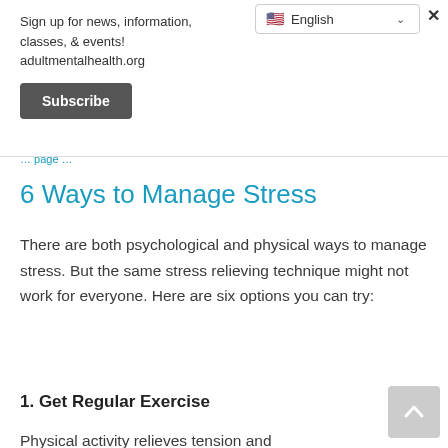Sign up for news, information, classes, & events! adultmentalhealth.org
Subscribe
... page breadcrumb ...
6 Ways to Manage Stress
There are both psychological and physical ways to manage stress. But the same stress relieving technique might not work for everyone. Here are six options you can try:
1. Get Regular Exercise
Physical activity relieves tension and